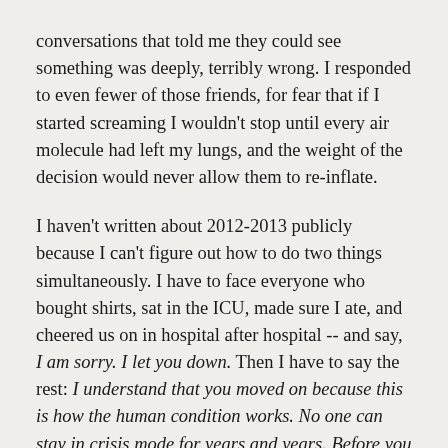conversations that told me they could see something was deeply, terribly wrong. I responded to even fewer of those friends, for fear that if I started screaming I wouldn't stop until every air molecule had left my lungs, and the weight of the decision would never allow them to re-inflate.
I haven't written about 2012-2013 publicly because I can't figure out how to do two things simultaneously. I have to face everyone who bought shirts, sat in the ICU, made sure I ate, and cheered us on in hospital after hospital -- and say, I am sorry. I let you down. Then I have to say the rest: I understand that you moved on because this is how the human condition works. No one can stay in crisis mode for years and years. Before you judge, though, you might want to ask what happened after you left.
Eventually, everyone trusted that this post-hospital New Normal would hold, and left us to our own devices. Our days kept